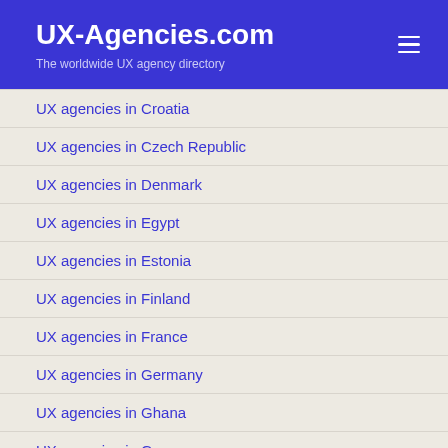UX-Agencies.com
The worldwide UX agency directory
UX agencies in Croatia
UX agencies in Czech Republic
UX agencies in Denmark
UX agencies in Egypt
UX agencies in Estonia
UX agencies in Finland
UX agencies in France
UX agencies in Germany
UX agencies in Ghana
UX agencies in Greece
UX agencies in Guatemala